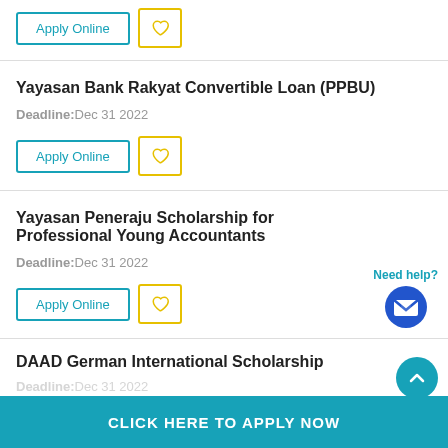Apply Online [button, partial top card]
Yayasan Bank Rakyat Convertible Loan (PPBU)
Deadline: Dec 31 2022
Apply Online
Yayasan Peneraju Scholarship for Professional Young Accountants
Deadline: Dec 31 2022
Apply Online
Need help?
DAAD German International Scholarship
Deadline: Dec 31 2022
CLICK HERE TO APPLY NOW